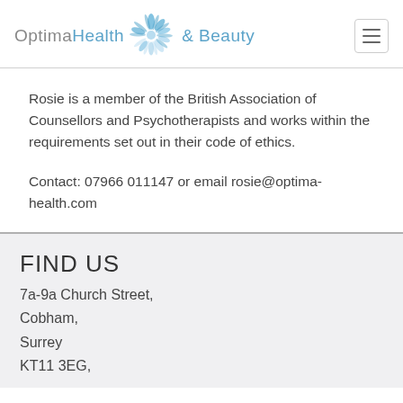[Figure (logo): Optima Health & Beauty logo with blue flower/snowflake graphic]
Rosie is a member of the British Association of Counsellors and Psychotherapists and works within the requirements set out in their code of ethics.
Contact: 07966 011147 or email rosie@optima-health.com
FIND US
7a-9a Church Street,
Cobham,
Surrey
KT11 3EG,